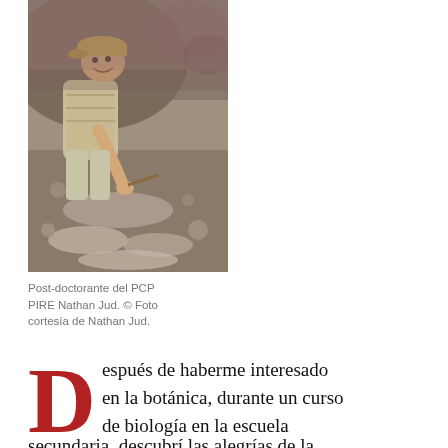[Figure (photo): Post-doctoral researcher Nathan Jud kneeling at a fossil excavation site, smiling at the camera while working with rocks and fossils in the field.]
Post-doctorante del PCP PIRE Nathan Jud. © Foto cortesía de Nathan Jud.
Después de haberme interesado en la botánica, durante un curso de biología en la escuela secundaria, descubrí las alegrías de la